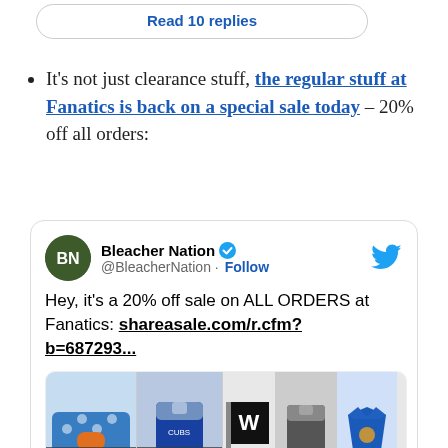Read 10 replies
It's not just clearance stuff, the regular stuff at Fanatics is back on a special sale today – 20% off all orders:
[Figure (screenshot): Tweet from Bleacher Nation (@BleacherNation) with Follow button and Twitter bird icon. Tweet text: Hey, it's a 20% off sale on ALL ORDERS at Fanatics: shareasale.com/r.cfm?b=687293... Below the tweet text is an image strip showing Chicago Cubs merchandise including a purse, jacket, pennant, jacket, shirt, pennant, pants, bracelet, and shirt.]